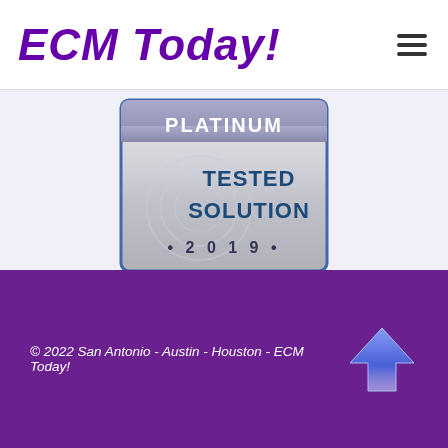ECM Today!
[Figure (logo): Platinum Tested Solution 2019 badge/seal with silver metallic background and blue text]
Download Product Review
© 2022 San Antonio - Austin - Houston - ECM Today!